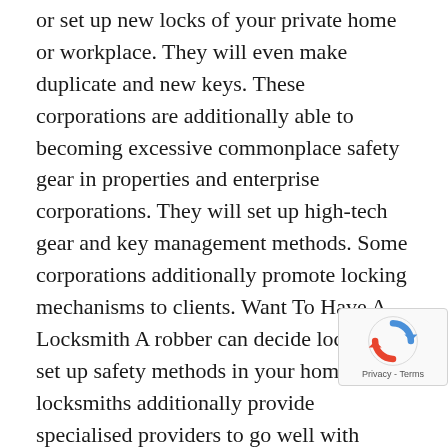or set up new locks of your private home or workplace. They will even make duplicate and new keys. These corporations are additionally able to becoming excessive commonplace safety gear in properties and enterprise corporations. They will set up high-tech gear and key management methods. Some corporations additionally promote locking mechanisms to clients. Want To Have A Locksmith A robber can decide locks and set up safety methods in your home. Some locksmiths additionally provide specialised providers to go well with consumer's exact necessities. Some locksmiths deal in residential providers whereas some are engaged in business locksmith providers. It's essential to select locksmith based on your requirement and specialization of the locksmith. This may save your time and can guarantee a reliable j... You possibly can search for a locksmith who offers... business purposes to fulfil the safety calls for of y... giant workplace. Likewise, for home wants it is...
[Figure (other): Google reCAPTCHA badge overlay in the bottom-right corner showing the reCAPTCHA logo and 'Privacy - Terms' text]